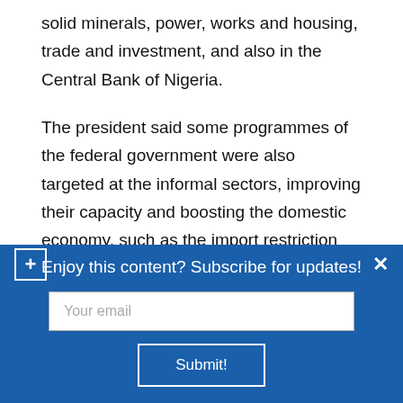solid minerals, power, works and housing, trade and investment, and also in the Central Bank of Nigeria.
The president said some programmes of the federal government were also targeted at the informal sectors, improving their capacity and boosting the domestic economy, such as the import restriction the executive order on ease of doing business.
The ILO Director General, Guy Ryder, called on governments and the social partners to foster pro-
[Figure (screenshot): Blue subscription banner with plus icon on left, close X on right, text 'Enjoy this content? Subscribe for updates!', email input field with placeholder 'Your email', and Submit button.]